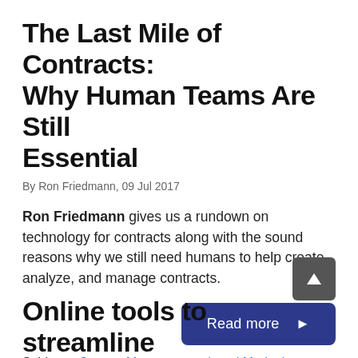The Last Mile of Contracts: Why Human Teams Are Still Essential
By Ron Friedmann, 09 Jul 2017
Ron Friedmann gives us a rundown on technology for contracts along with the sound reasons why we still need humans to help create, analyze, and manage contracts.
Read more ▶
Subjects: Contact Management, Legal Marketing, Technology Trends
Online tools to streamline